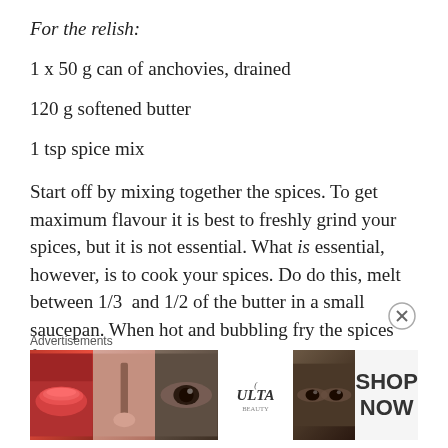For the relish:
1 x 50 g can of anchovies, drained
120 g softened butter
1 tsp spice mix
Start off by mixing together the spices. To get maximum flavour it is best to freshly grind your spices, but it is not essential. What is essential, however, is to cook your spices. Do do this, melt between 1/3  and 1/2 of the butter in a small saucepan. When hot and bubbling fry the spices for around 30 seconds; mind the butter doesn't burn though. Now mix it with the anchovies and the remaining
[Figure (other): Advertisement banner for ULTA beauty showing close-up images of lips, makeup brush, eye, ULTA logo, eyes, and SHOP NOW text]